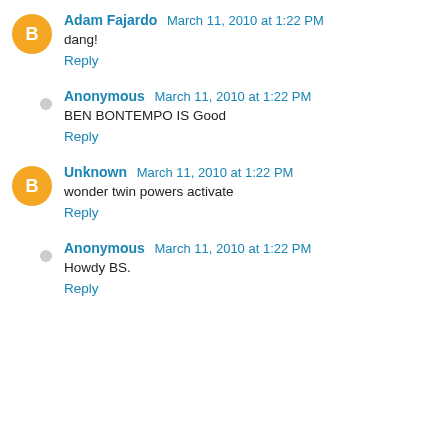Adam Fajardo  March 11, 2010 at 1:22 PM
dang!
Reply
Anonymous  March 11, 2010 at 1:22 PM
BEN BONTEMPO IS Good
Reply
Unknown  March 11, 2010 at 1:22 PM
wonder twin powers activate
Reply
Anonymous  March 11, 2010 at 1:22 PM
Howdy BS.
Reply